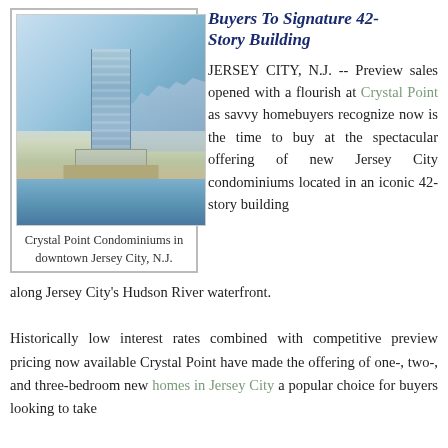Buyers To Signature 42-Story Building
[Figure (photo): Aerial rendering of Crystal Point Condominiums, a tall glass tower in downtown Jersey City, N.J., situated along the Hudson River waterfront with city skyline in background.]
Crystal Point Condominiums in downtown Jersey City, N.J.
JERSEY CITY, N.J. -- Preview sales opened with a flourish at Crystal Point as savvy homebuyers recognize now is the time to buy at the spectacular offering of new Jersey City condominiums located in an iconic 42-story building along Jersey City's Hudson River waterfront.
Historically low interest rates combined with competitive preview pricing now available Crystal Point have made the offering of one-, two-, and three-bedroom new homes in Jersey City a popular choice for buyers looking to take